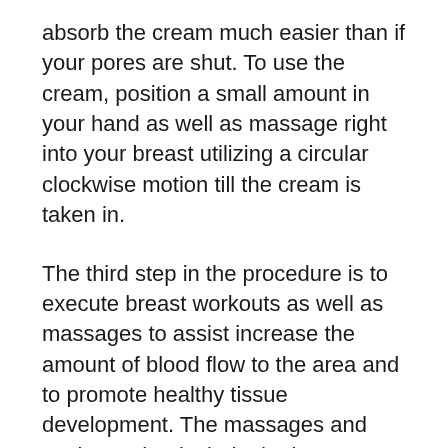absorb the cream much easier than if your pores are shut. To use the cream, position a small amount in your hand as well as massage right into your breast utilizing a circular clockwise motion till the cream is taken in.
The third step in the procedure is to execute breast workouts as well as massages to assist increase the amount of blood flow to the area and to promote healthy tissue development. The massages and workouts that include the item are easy to perform as well as will certainly not take as well long to do so.
You need to adhere to a regular as well as full the three-step procedure each day the